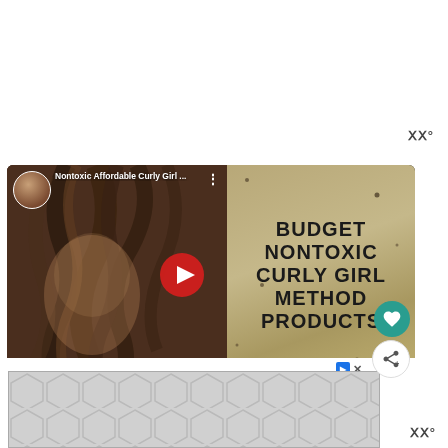[Figure (screenshot): Top white area with MMMM° logo watermark in upper right]
[Figure (screenshot): YouTube video thumbnail showing a woman with curly hair on the left side and bold text reading BUDGET NONTOXIC CURLY GIRL METHOD PRODUCTS on a tan/gold background on the right. Video title bar reads 'Nontoxic Affordable Curly Girl ...' A red YouTube play button is centered. A teal heart icon and white share icon appear on the right edge.]
[Figure (screenshot): Bottom advertisement area with hexagonal/diamond pattern grey ad banner. Ad badge with blue P symbol and X close button. MMMM° watermark logo in lower right.]